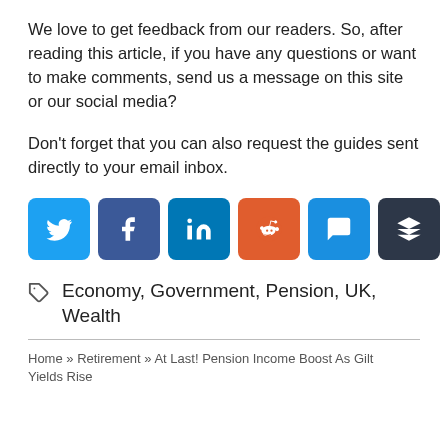We love to get feedback from our readers. So, after reading this article, if you have any questions or want to make comments, send us a message on this site or our social media?
Don't forget that you can also request the guides sent directly to your email inbox.
[Figure (infographic): Row of six social media share buttons: Twitter (blue), Facebook (dark blue), LinkedIn (blue), Reddit (orange), Message/Chat (blue), Buffer (dark grey)]
Economy, Government, Pension, UK, Wealth
Home » Retirement » At Last! Pension Income Boost As Gilt Yields Rise